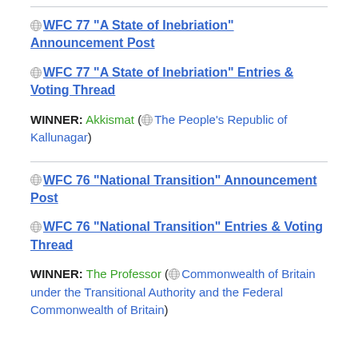WFC 77 "A State of Inebriation" Announcement Post
WFC 77 "A State of Inebriation" Entries & Voting Thread
WINNER: Akkismat (The People's Republic of Kallunagar)
WFC 76 "National Transition" Announcement Post
WFC 76 "National Transition" Entries & Voting Thread
WINNER: The Professor (Commonwealth of Britain under the Transitional Authority and the Federal Commonwealth of Britain)